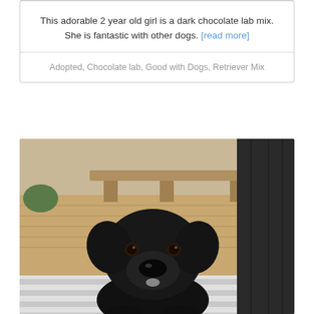This adorable 2 year old girl is a dark chocolate lab mix. She is fantastic with other dogs. [read more]
Adopted, Chocolate lab, Good with Dogs, Retriever Mix
[Figure (photo): Photo of a black Labrador puppy sitting on a striped rug on a wooden deck, looking at the camera. A bench and dark fence panel are visible in the background.]